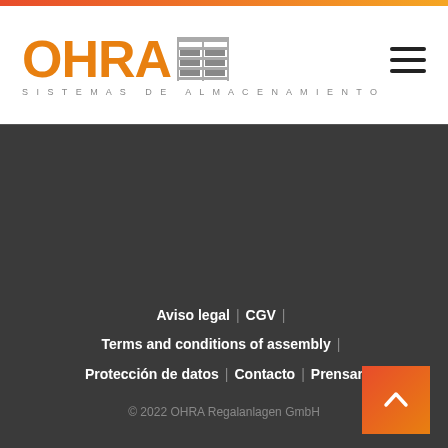[Figure (logo): OHRA Sistemas de Almacenamiento logo with orange text and grid icon]
Aviso legal | CGV | Terms and conditions of assembly | Protección de datos | Contacto | Prensar
© 2022 OHRA Regalanlagen GmbH